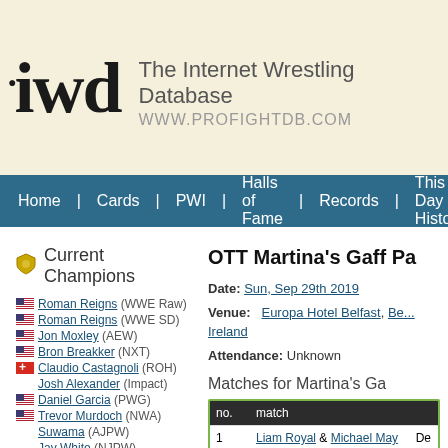iwd - The Internet Wrestling Database - WWW.PROFIGHTDB.COM
Home | Cards | PWI | Halls of Fame | Records | This Day in History | Oth
OTT Martina's Gaff Pa
Date: Sun, Sep 29th 2019
Venue: Europa Hotel Belfast, Be... Ireland
Attendance: Unknown
Matches for Martina's Ga
Current Champions
Roman Reigns (WWE Raw)
Roman Reigns (WWE SD)
Jon Moxley (AEW)
Bron Breakker (NXT)
Claudio Castagnoli (ROH)
Josh Alexander (Impact)
Daniel Garcia (PWG)
Trevor Murdoch (NWA)
Suwama (AJPW)
Jay White (NJPW)
Kenoh (NOAH)
El Hijo Del Vikingo (AAA)
| no. | match |
| --- | --- |
| 1 | Liam Royal & Michael May |